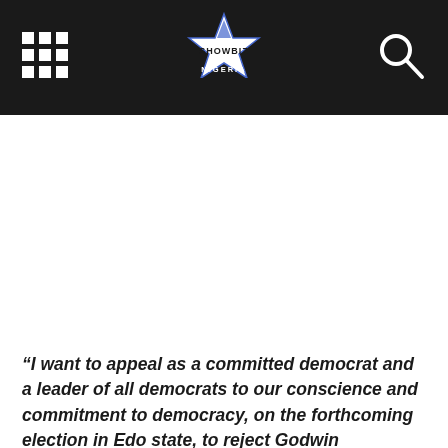Showbiz Nigeria
“I want to appeal as a committed democrat and a leader of all democrats to our conscience and commitment to democracy, on the forthcoming election in Edo state, to reject Godwin